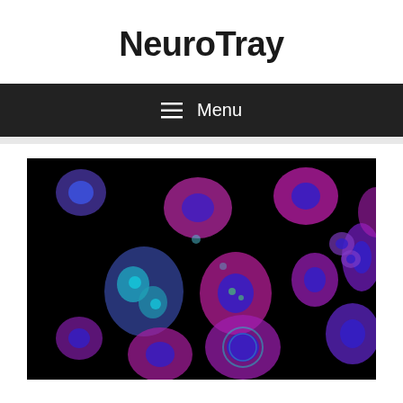NeuroTray
≡ Menu
[Figure (photo): Fluorescence microscopy image of cells on black background, showing nuclei in blue and cell bodies in pink/magenta and red, with some cells showing detailed internal structures in cyan/green]